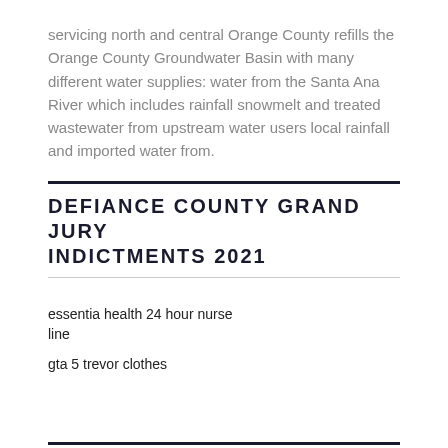servicing north and central Orange County refills the Orange County Groundwater Basin with many different water supplies: water from the Santa Ana River which includes rainfall snowmelt and treated wastewater from upstream water users local rainfall and imported water from.
DEFIANCE COUNTY GRAND JURY INDICTMENTS 2021
essentia health 24 hour nurse line
gta 5 trevor clothes
KUU PUERTO VALLARTA
zillow citrus county rentals